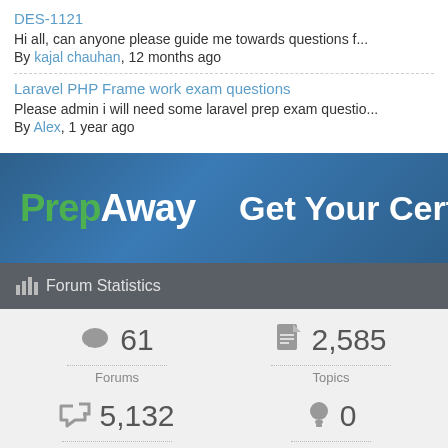DES-1121
Hi all, can anyone please guide me towards questions f...
By kajal chauhan, 12 months ago
Laravel PHP Frame work exam questions
Please admin i will need some laravel prep exam questio...
By Alex, 1 year ago
[Figure (screenshot): PrepAway banner advertisement showing logo and tagline 'Get Your Certifi...']
Forum Statistics
|  |  |
| --- | --- |
| 61 Forums | 2,585 Topics |
| 5,132 Posts | 0 Online |